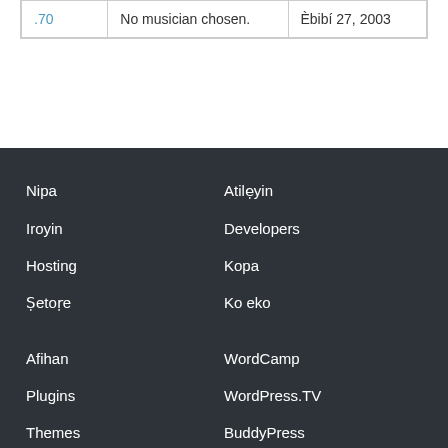| .70 | No musician chosen. | Èbibí 27, 2003 |
Nipa
Iroyin
Hosting
Ṣetoṛe
Atilẹyin
Developers
Kopa
Ko eko
Afihan
WordCamp
Plugins
WordPress.TV
Themes
BuddyPress